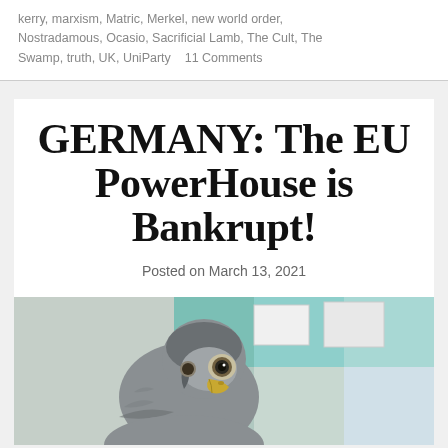kerry, marxism, Matric, Merkel, new world order, Nostradamous, Ocasio, Sacrificial Lamb, The Cult, The Swamp, truth, UK, UniParty    11 Comments
GERMANY: The EU PowerHouse is Bankrupt!
Posted on March 13, 2021
[Figure (photo): Close-up photograph of a falcon or hawk bird of prey, gray feathered, facing the camera slightly left, with a yellow beak and sharp eye, blurred colorful background.]